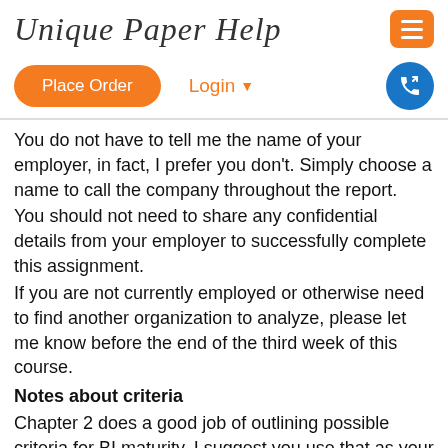Unique Paper Help
Place Order   Login ▾
You do not have to tell me the name of your employer, in fact, I prefer you don't. Simply choose a name to call the company throughout the report. You should not need to share any confidential details from your employer to successfully complete this assignment. If you are not currently employed or otherwise need to find another organization to analyze, please let me know before the end of the third week of this course.
Notes about criteria
Chapter 2 does a good job of outlining possible criteria for BI maturity. I suggest you use that as your basic outline, but this is not a requirement.
Criteria should be simple and clear, do not copy from the